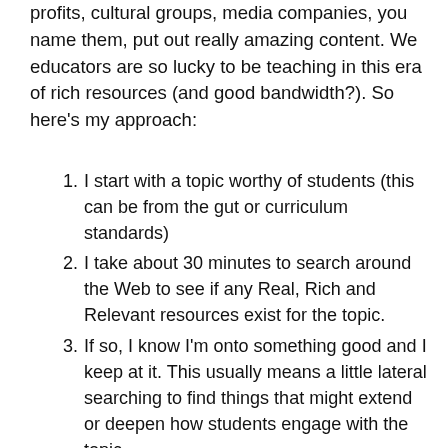profits, cultural groups, media companies, you name them, put out really amazing content.  We educators are so lucky to be teaching in this era of rich resources (and good bandwidth?). So here's my approach:
I start with a topic worthy of students (this can be from the gut or curriculum standards)
I take about 30 minutes to search around the Web to see if any Real, Rich and Relevant resources exist for the topic.
If so, I know I'm onto something good and I keep at it.  This usually means a little lateral searching to find things that might extend or deepen how students engage with the topic.
If I'm not finding anything inspiring in 30